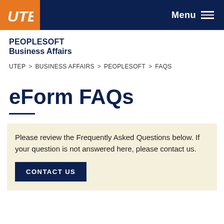[Figure (logo): UTEP logo — white pickaxe/U shape on orange background in site header]
Menu
PEOPLESOFT
Business Affairs
UTEP > BUSINESS AFFAIRS > PEOPLESOFT > FAQS
eForm FAQs
Please review the Frequently Asked Questions below. If your question is not answered here, please contact us.
CONTACT US